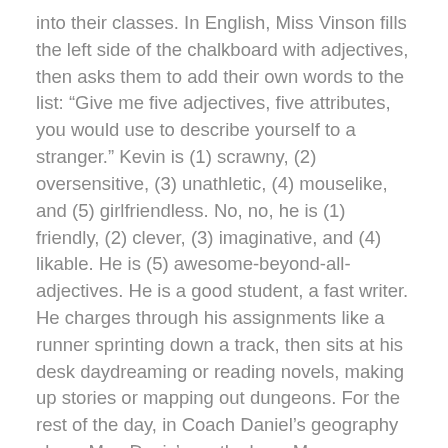into their classes. In English, Miss Vinson fills the left side of the chalkboard with adjectives, then asks them to add their own words to the list: “Give me five adjectives, five attributes, you would use to describe yourself to a stranger.” Kevin is (1) scrawny, (2) oversensitive, (3) unathletic, (4) mouselike, and (5) girlfriendless. No, no, he is (1) friendly, (2) clever, (3) imaginative, and (4) likable. He is (5) awesome-beyond-all-adjectives. He is a good student, a fast writer. He charges through his assignments like a runner sprinting down a track, then sits at his desk daydreaming or reading novels, making up stories or mapping out dungeons. For the rest of the day, in Coach Daniel’s geography class, Mrs. Davis’s math class, Mrs. Bussard’s SRA class, he fills his spare time puzzling through Jill’s wisecrack. Either she chose a part of his body at random, or there is something special about his upper lip, something he cannot figure out. The question is, what makes his upper lip unique? He has noticed that